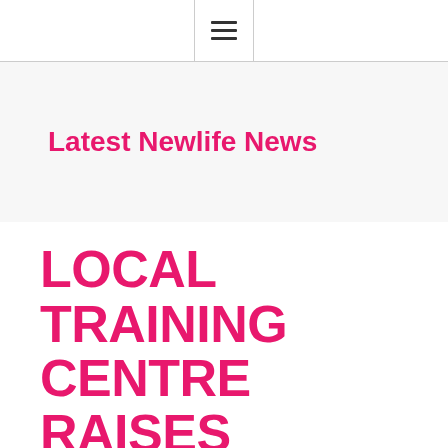☰
Latest Newlife News
LOCAL TRAINING CENTRE RAISES FUNDS TO HELP COUNTY'S